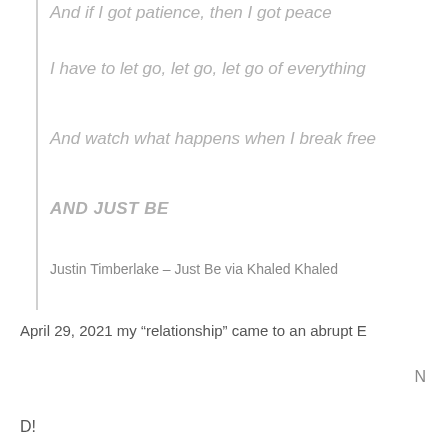And if I got patience, then I got peace
I have to let go, let go, let go of everything
And watch what happens when I break free
AND JUST BE
Justin Timberlake – Just Be via Khaled Khaled
April 29, 2021 my “relationship” came to an abrupt END!